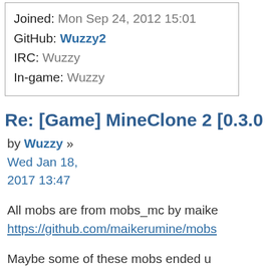Joined: Mon Sep 24, 2012 15:01
GitHub: Wuzzy2
IRC: Wuzzy
In-game: Wuzzy
Re: [Game] MineClone 2 [0.3.0...
by Wuzzy » Wed Jan 18, 2017 13:47
All mobs are from mobs_mc by maike...
https://github.com/maikerumine/mobs...
Maybe some of these mobs ended u... game by coincidence or whatever. I d...